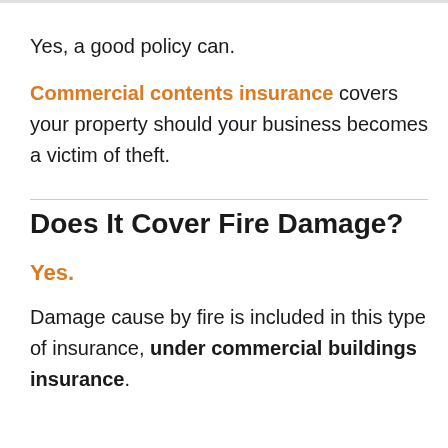Yes, a good policy can.
Commercial contents insurance covers your property should your business becomes a victim of theft.
Does It Cover Fire Damage?
Yes.
Damage cause by fire is included in this type of insurance, under commercial buildings insurance.